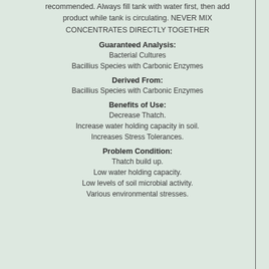recommended. Always fill tank with water first, then add product while tank is circulating. NEVER MIX CONCENTRATES DIRECTLY TOGETHER
Guaranteed Analysis:
Bacterial Cultures
Bacillius Species with Carbonic Enzymes
Derived From:
Bacillius Species with Carbonic Enzymes
Benefits of Use:
Decrease Thatch.
Increase water holding capacity in soil.
Increases Stress Tolerances.
Problem Condition:
Thatch build up.
Low water holding capacity.
Low levels of soil microbial activity.
Various environmental stresses.